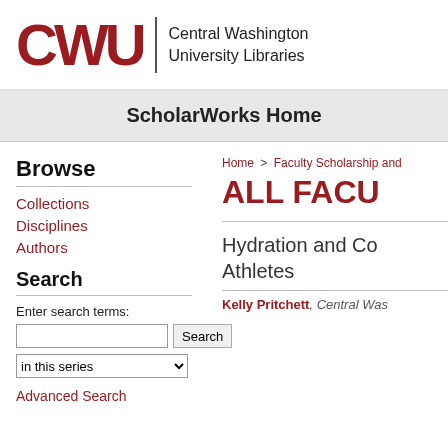[Figure (logo): CWU logo with red stylized letters CWU, vertical divider, and text 'Central Washington University Libraries']
ScholarWorks Home
Browse
Collections
Disciplines
Authors
Search
Enter search terms:
in this series
Advanced Search
Home > Faculty Scholarship and
ALL FACU
Hydration and Co Athletes
Kelly Pritchett, Central Was